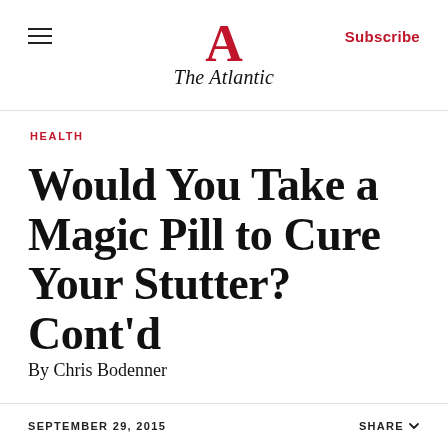The Atlantic
HEALTH
Would You Take a Magic Pill to Cure Your Stutter? Cont'd
By Chris Bodenner
SEPTEMBER 29, 2015   SHARE